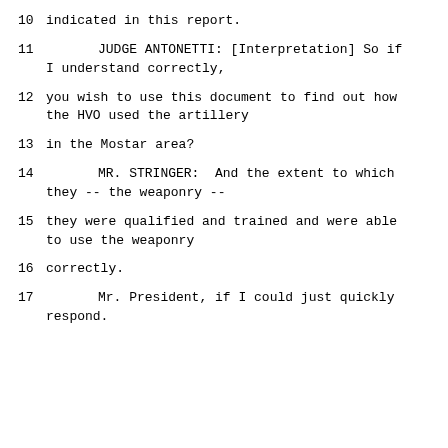10    indicated in this report.
11         JUDGE ANTONETTI: [Interpretation] So if I understand correctly,
12    you wish to use this document to find out how the HVO used the artillery
13    in the Mostar area?
14         MR. STRINGER:  And the extent to which they -- the weaponry --
15    they were qualified and trained and were able to use the weaponry
16    correctly.
17         Mr. President, if I could just quickly respond.